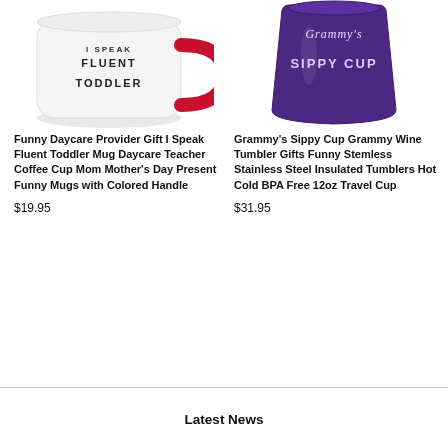[Figure (photo): White coffee mug with red handle, text 'I SPEAK FLUENT TODDLER' on it]
[Figure (photo): Purple stemless wine tumbler with text 'Grammy's SIPPY CUP' on it]
Funny Daycare Provider Gift I Speak Fluent Toddler Mug Daycare Teacher Coffee Cup Mom Mother's Day Present Funny Mugs with Colored Handle
$19.95
Grammy's Sippy Cup Grammy Wine Tumbler Gifts Funny Stemless Stainless Steel Insulated Tumblers Hot Cold BPA Free 12oz Travel Cup
$31.95
Latest News